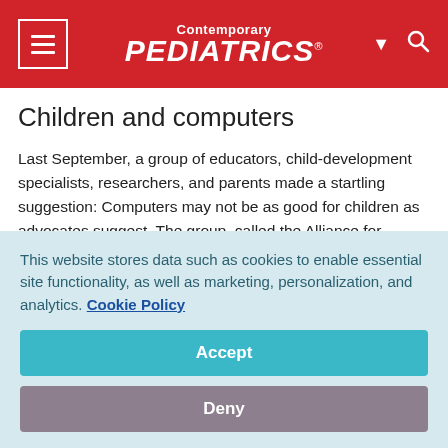Contemporary PEDIATRICS
Children and computers
Last September, a group of educators, child-development specialists, researchers, and parents made a startling suggestion: Computers may not be as good for children as advocates suggest. The group, called the Alliance for Childhood, is calling for a moratorium on the further introduction of computers in early childhood and elementary education—except for some children with disabilities. The
This website stores data such as cookies to enable essential site functionality, as well as marketing, personalization, and analytics. Cookie Policy
Accept
Deny